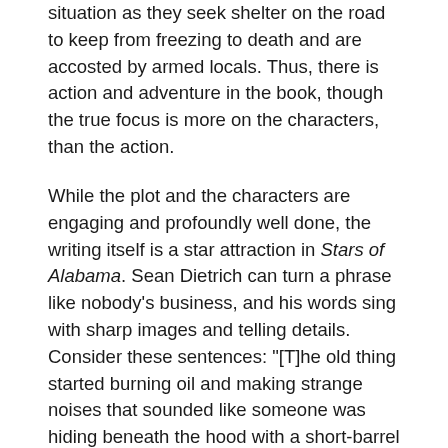situation as they seek shelter on the road to keep from freezing to death and are accosted by armed locals. Thus, there is action and adventure in the book, though the true focus is more on the characters, than the action.
While the plot and the characters are engaging and profoundly well done, the writing itself is a star attraction in Stars of Alabama. Sean Dietrich can turn a phrase like nobody’s business, and his words sing with sharp images and telling details. Consider these sentences: “[T]he old thing started burning oil and making strange noises that sounded like someone was hiding beneath the hood with a short-barrel shotgun.” Or, a series of sentences that captures the true love on the newly married: “He was handsome, yes. But he was more than that. He was the rest of her life.”
Thomas Nelson, the publisher, is the Christian arm of HarperCollins. And the Christian themes of love, compassion, hope and caring for each other ring strong in the book, though it is not a preachy book by any means. There is an evil fake preacher balanced by a genuine good preacher, but it isn’t the